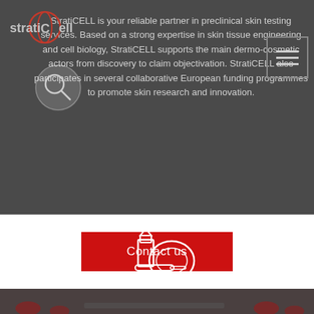[Figure (logo): StratiCell logo with circular cell graphic in red and grey tones]
StratiCELL is your reliable partner in preclinical skin testing services. Based on a strong expertise in skin tissue engineering and cell biology, StratiCELL supports the main dermo-cosmetic actors from discovery to claim objectivation. StratiCELL also participates in several collaborative European funding programmes to promote skin research and innovation.
[Figure (other): Search icon - magnifying glass circle]
[Figure (other): Hamburger menu icon with three horizontal lines in a bordered box]
[Figure (other): Contact us button - red rectangle with white text]
[Figure (photo): Laboratory photo showing red cosmetic jars on a weighing scale, person in lab coat, with a white cosmetics/lipstick icon overlay]